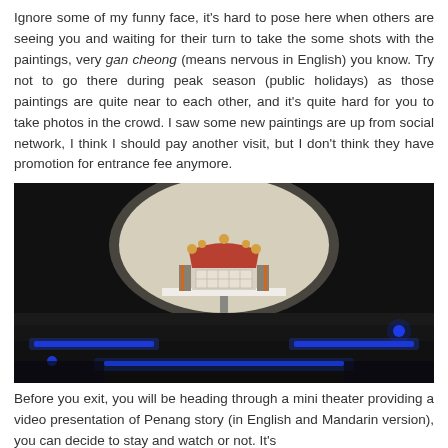Ignore some of my funny face, it's hard to pose here when others are seeing you and waiting for their turn to take the some shots with the paintings, very gan cheong (means nervous in English) you know. Try not to go there during peak season (public holidays) as those paintings are quite near to each other, and it's quite hard for you to take photos in the crowd. I saw some new paintings are up from social network, I think I should pay another visit, but I don't think they have promotion for entrance fee anymore.
[Figure (photo): A dark room mini theater with a small illuminated display showing a colorful illustration of a traditional building/temple in an oval spotlight. The lower portion shows blue LED lighting underneath stepped platforms/seating.]
Before you exit, you will be heading through a mini theater providing a video presentation of Penang story (in English and Mandarin version), you can decide to stay and watch or not. It's